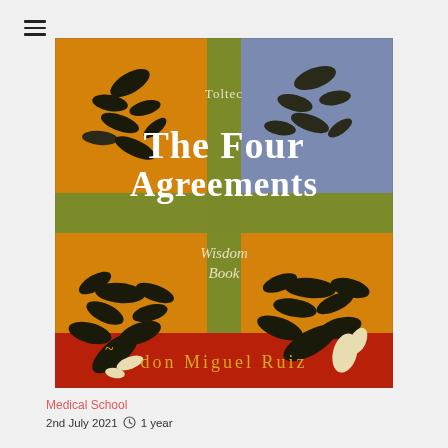[Figure (illustration): Book cover of 'The Four Agreements: A Toltec Wisdom Book' by don Miguel Ruiz. The cover features four orange/yellow squares with dark painted leaf/plant motifs arranged in a grid pattern, separated by a cross-shaped green band. The title 'The Four Agreements' appears in large white serif text. 'Toltec' appears in the upper center and 'Wisdom Book' in the lower center of the green cross. The author name 'don Miguel Ruiz' appears in gold/yellow lettering on a red band at the bottom.]
Medical School
2nd July 2021 ⊙ 1 year